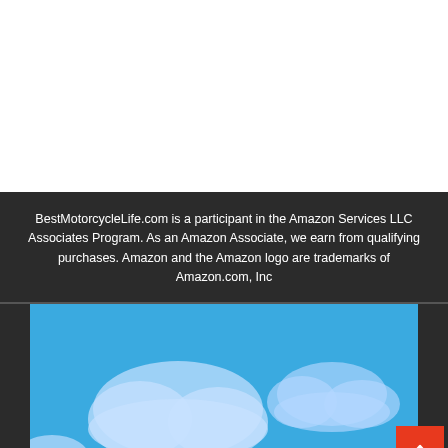BestMotorcycleLife.com is a participant in the Amazon Services LLC Associates Program. As an Amazon Associate, we earn from qualifying purchases. Amazon and the Amazon logo are trademarks of Amazon.com, Inc
[Figure (illustration): Blue sky with white cartoon clouds illustration, with a red scroll-to-top button in the bottom right corner containing an upward chevron arrow.]